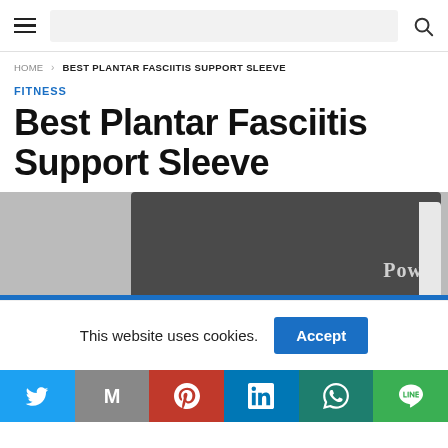Navigation bar with hamburger menu, search bar, and search icon
HOME › BEST PLANTAR FASCIITIS SUPPORT SLEEVE
FITNESS
Best Plantar Fasciitis Support Sleeve
[Figure (photo): Close-up photo of a dark grey plantar fasciitis support sleeve with 'Pow' text visible on the fabric]
This website uses cookies.
Social sharing bar: Twitter, Gmail, Pinterest, LinkedIn, WhatsApp, Line